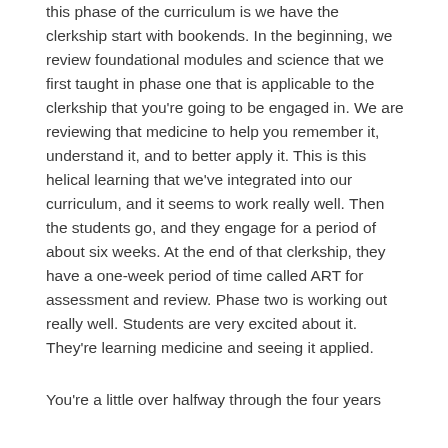this phase of the curriculum is we have the clerkship start with bookends. In the beginning, we review foundational modules and science that we first taught in phase one that is applicable to the clerkship that you're going to be engaged in. We are reviewing that medicine to help you remember it, understand it, and to better apply it. This is this helical learning that we've integrated into our curriculum, and it seems to work really well. Then the students go, and they engage for a period of about six weeks. At the end of that clerkship, they have a one-week period of time called ART for assessment and review. Phase two is working out really well. Students are very excited about it. They're learning medicine and seeing it applied.
You're a little over halfway through the four years